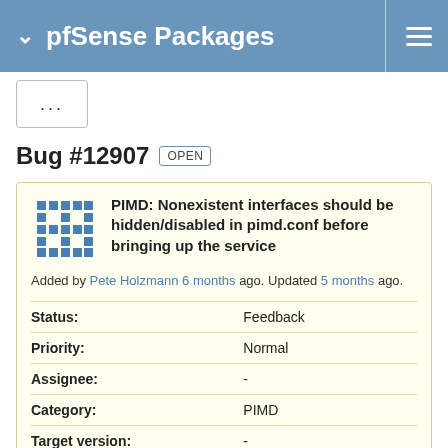pfSense Packages
...
Bug #12907 OPEN
PIMD: Nonexistent interfaces should be hidden/disabled in pimd.conf before bringing up the service
Added by Pete Holzmann 6 months ago. Updated 5 months ago.
| Field | Value |
| --- | --- |
| Status: | Feedback |
| Priority: | Normal |
| Assignee: | - |
| Category: | PIMD |
| Target version: | - |
| Start date: |  |
| Due date: |  |